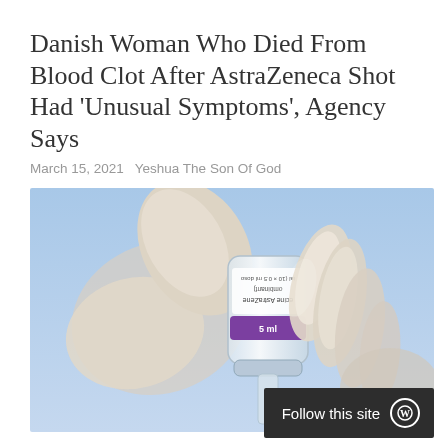Danish Woman Who Died From Blood Clot After AstraZeneca Shot Had 'Unusual Symptoms', Agency Says
March 15, 2021   Yeshua The Son Of God
[Figure (photo): A gloved hand holding a small vial of AstraZeneca vaccine (5 ml) against a blue sky background. The label on the vial is partially visible and appears upside-down. A syringe is visible below the vial.]
Follow this site